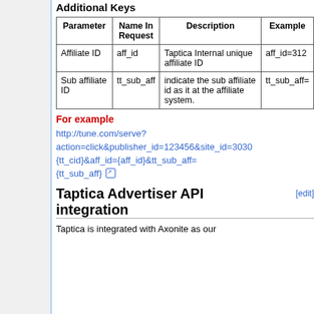Additional Keys
| Parameter | Name In Request | Description | Example |
| --- | --- | --- | --- |
| Affiliate ID | aff_id | Taptica Internal unique affiliate ID | aff_id=312 |
| Sub affiliate ID | tt_sub_aff | indicate the sub affiliate id as it at the affiliate system. | tt_sub_aff= |
For example
http://tune.com/serve?action=click&publisher_id=123456&site_id=3030{tt_cid}&aff_id={aff_id}&tt_sub_aff={tt_sub_aff}
Taptica Advertiser API integration [edit]
Taptica is integrated with Axonite as our